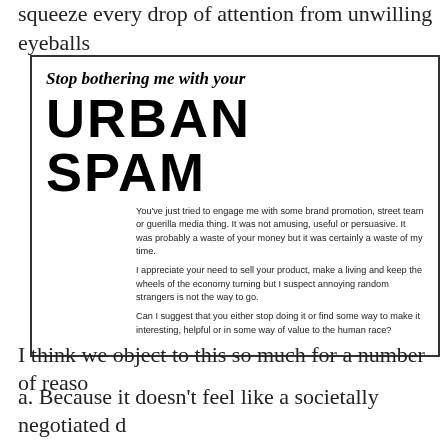squeeze every drop of attention from unwilling eyeballs
[Figure (other): Urban Spam card/flyer image with heading 'Stop bothering me with your URBAN SPAM' and three paragraphs of body text explaining objection to unsolicited brand promotion.]
I think we object to this so much for a number of reaso
a. Because it doesn't feel like a societally negotiated d